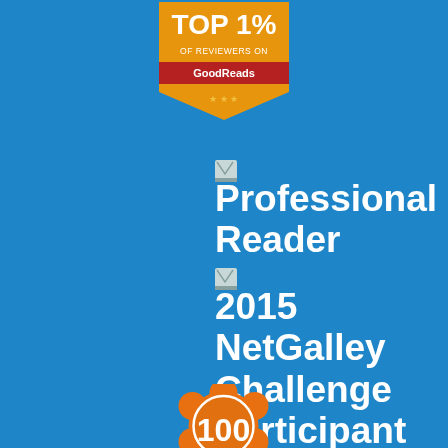[Figure (logo): Top 1% of Reviewers on GoodReads badge - orange pennant/shield shape with text TOP 1% OF REVIEWERS ON GoodReads]
[Figure (logo): Broken image placeholder for Professional Reader badge]
Professional Reader
[Figure (logo): Broken image placeholder for 2015 NetGalley Challenge Participant badge]
2015 NetGalley Challenge Participant
[Figure (logo): Broken image placeholder for 2016 NetGalley Challenge badge]
2016 NetGalley Challenge
[Figure (logo): Orange flower/rosette badge with 100 in the center]